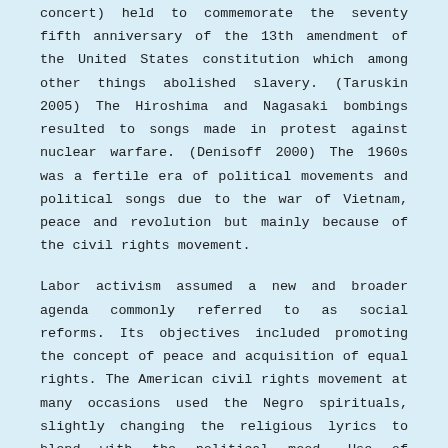concert) held to commemorate the seventy fifth anniversary of the 13th amendment of the United States constitution which among other things abolished slavery. (Taruskin 2005) The Hiroshima and Nagasaki bombings resulted to songs made in protest against nuclear warfare. (Denisoff 2000) The 1960s was a fertile era of political movements and political songs due to the war of Vietnam, peace and revolution but mainly because of the civil rights movement.
Labor activism assumed a new and broader agenda commonly referred to as social reforms. Its objectives included promoting the concept of peace and acquisition of equal rights. The American civil rights movement at many occasions used the Negro spirituals, slightly changing the religious lyrics to blend with the political mood. Use of religious music emphasized the peaceful nature of their political protests. Vietnam War protest songs continued to gain popularity through the seventies with protest movements even being formed by veterans themselves such as the Vietnam Veterans against the War.
Other issues that were addressed in songs during the contemporary include women's liberation and their feminist...